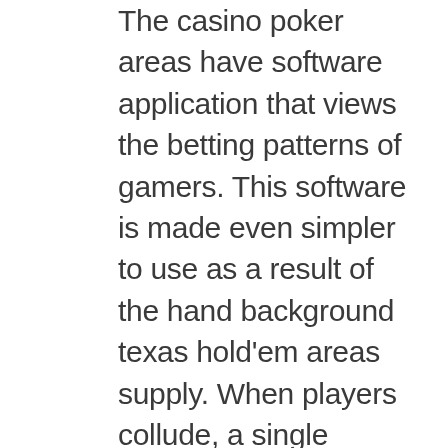The casino poker areas have software application that views the betting patterns of gamers. This software is made even simpler to use as a result of the hand background texas hold'em areas supply. When players collude, a single person will typically have a good to wonderful hand as well as the various other player will certainly have rags. As a result of the software that the on-line texas hold'em room makes use of, they can conveniently see that these two gamers dip into the same table with each other a fair bit (even if from different IPs, states, etc.) and they are always elevating as well as folding when one has an excellent hand and also the various other has an actually negative hand. It will not take long for the casino poker room's software to learn if they are conspiring or not. Yet, the reality that other players promptly report any type of strange behavior in order to inform the texas hold'em space, the